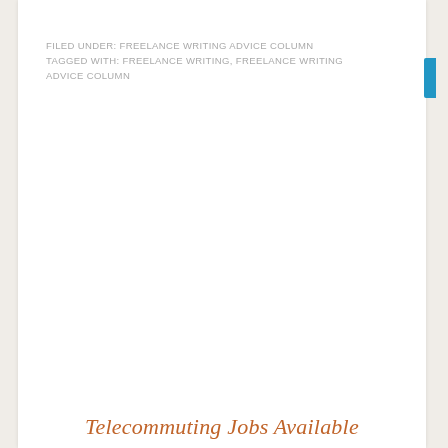FILED UNDER: FREELANCE WRITING ADVICE COLUMN
TAGGED WITH: FREELANCE WRITING, FREELANCE WRITING ADVICE COLUMN
Telecommuting Jobs Available